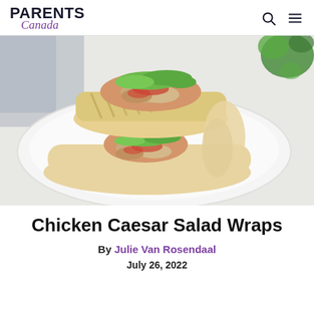PARENTS Canada
[Figure (photo): Two halves of a chicken Caesar salad wrap stacked on a white plate, showing layers of chicken, lettuce, and tomato in a flour tortilla. Green herbs visible in background.]
Chicken Caesar Salad Wraps
By Julie Van Rosendaal
July 26, 2022